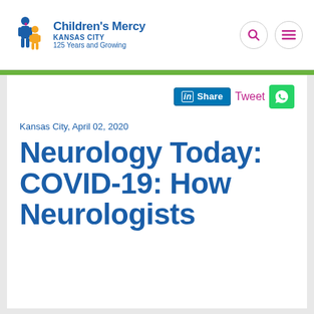Children's Mercy KANSAS CITY 125 Years and Growing
Kansas City, April 02, 2020
Neurology Today: COVID-19: How Neurologists